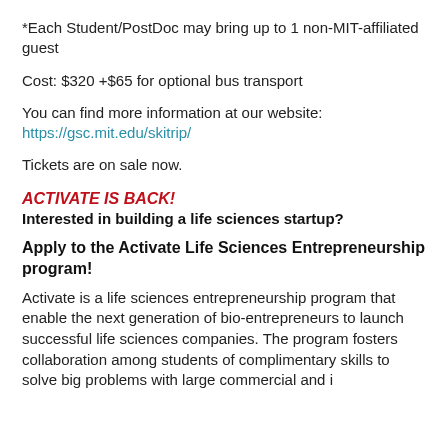*Each Student/PostDoc may bring up to 1 non-MIT-affiliated guest
Cost: $320 +$65 for optional bus transport
You can find more information at our website: https://gsc.mit.edu/skitrip/
Tickets are on sale now.
ACTIVATE IS BACK!
Interested in building a life sciences startup?
Apply to the Activate Life Sciences Entrepreneurship program!
Activate is a life sciences entrepreneurship program that enable the next generation of bio-entrepreneurs to launch successful life sciences companies. The program fosters collaboration among students of complimentary skills to solve big problems with large commercial and i...